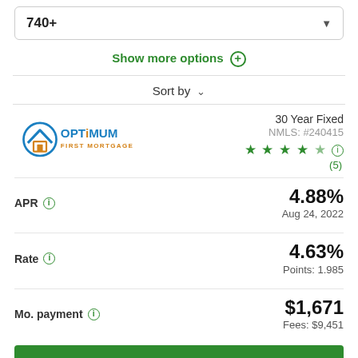740+
Show more options ⊕
Sort by
[Figure (logo): Optimum First Mortgage logo with house roof icon, teal and gold colors]
30 Year Fixed
NMLS: #240415
★ ★ ★ ★ ★ (5)
APR ⓘ
4.88%
Aug 24, 2022
Rate ⓘ
4.63%
Points: 1.985
Mo. payment ⓘ
$1,671
Fees: $9,451